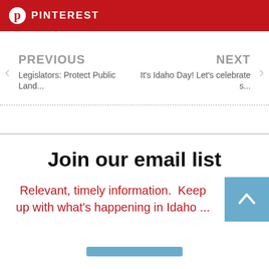PINTEREST
PREVIOUS
Legislators: Protect Public Land...
NEXT
It's Idaho Day! Let's celebrate s...
Join our email list
Relevant, timely information.  Keep up with what's happening in Idaho ...